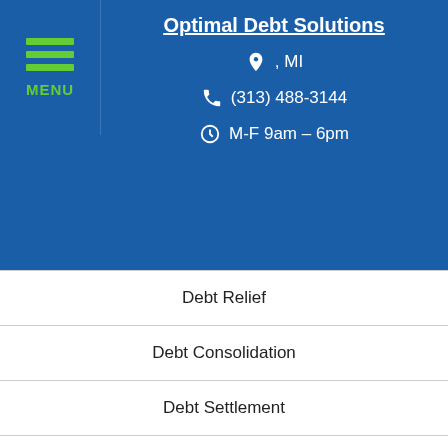Optimal Debt Solutions | , MI | (313) 488-3144 | M-F 9am – 6pm
Debt Relief
Debt Consolidation
Debt Settlement
About Us
Reviews & Testimonials
Debt Relief Locations
Debt Settlement Locations
Debt Reduction Locations